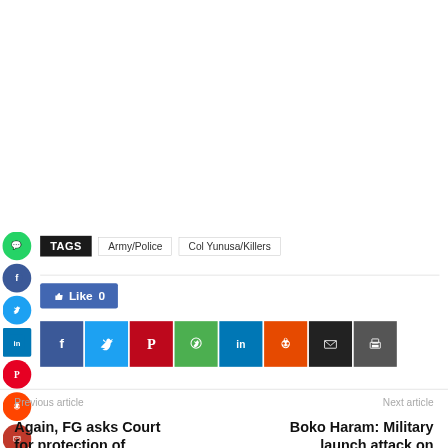TAGS  Army/Police  Col Yunusa/Killers
[Figure (infographic): Social media share buttons: Facebook, Twitter, Pinterest, WhatsApp, LinkedIn, Reddit, Email, Print]
Like 0
Previous article
Again, FG asks Court for protection of witnesses on Dasuki; says he has large
Next article
Boko Haram: Military launch attack on remaining terrorists in Bama Communities.